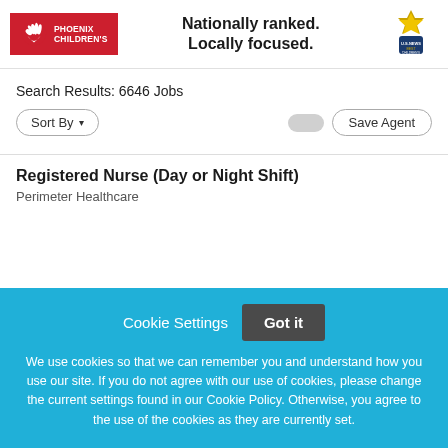[Figure (logo): Phoenix Children's logo — red box with white hand icon and text PHOENIX CHILDREN'S]
Nationally ranked. Locally focused.
[Figure (logo): US News Best Children's Hospitals badge/award icon]
Search Results: 6646 Jobs
Sort By  [toggle]  Save Agent
Registered Nurse (Day or Night Shift)
Perimeter Healthcare
Cookie Settings  Got it
We use cookies so that we can remember you and understand how you use our site. If you do not agree with our use of cookies, please change the current settings found in our Cookie Policy. Otherwise, you agree to the use of the cookies as they are currently set.